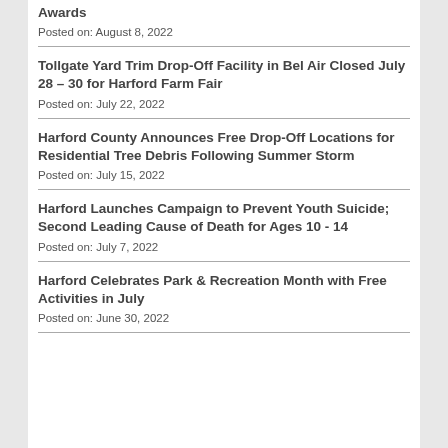Awards
Posted on: August 8, 2022
Tollgate Yard Trim Drop-Off Facility in Bel Air Closed July 28 – 30 for Harford Farm Fair
Posted on: July 22, 2022
Harford County Announces Free Drop-Off Locations for Residential Tree Debris Following Summer Storm
Posted on: July 15, 2022
Harford Launches Campaign to Prevent Youth Suicide; Second Leading Cause of Death for Ages 10 - 14
Posted on: July 7, 2022
Harford Celebrates Park & Recreation Month with Free Activities in July
Posted on: June 30, 2022